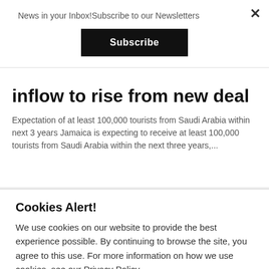News in your Inbox!Subscribe to our Newsletters
Subscribe
inflow to rise from new deal
Expectation of at least 100,000 tourists from Saudi Arabia within next 3 years Jamaica is expecting to receive at least 100,000 tourists from Saudi Arabia within the next three years,...
Cookies Alert!
We use cookies on our website to provide the best experience possible. By continuing to browse the site, you agree to this use. For more information on how we use cookies, see our Privacy Policy.
Cookie settings
ACCEPT